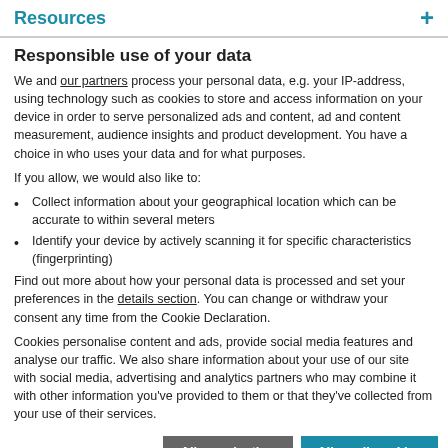Resources +
Responsible use of your data
We and our partners process your personal data, e.g. your IP-address, using technology such as cookies to store and access information on your device in order to serve personalized ads and content, ad and content measurement, audience insights and product development. You have a choice in who uses your data and for what purposes.
If you allow, we would also like to:
Collect information about your geographical location which can be accurate to within several meters
Identify your device by actively scanning it for specific characteristics (fingerprinting)
Find out more about how your personal data is processed and set your preferences in the details section. You can change or withdraw your consent any time from the Cookie Declaration.
Cookies personalise content and ads, provide social media features and analyse our traffic. We also share information about your use of our site with social media, advertising and analytics partners who may combine it with other information you've provided to them or that they've collected from your use of their services.
Allow selection | Allow all cookies
Necessary | Preferences | Statistics | Marketing | Show details